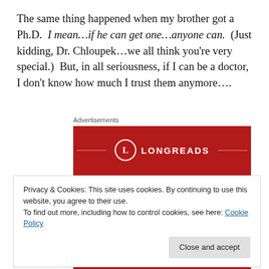The same thing happened when my brother got a Ph.D.  I mean…if he can get one…anyone can.  (Just kidding, Dr. Chloupek…we all think you're very special.)  But, in all seriousness, if I can be a doctor, I don't know how much I trust them anymore….
Advertisements
[Figure (other): Longreads advertisement banner with red background, circular L logo, and text 'The best stories on']
Privacy & Cookies: This site uses cookies. By continuing to use this website, you agree to their use.
To find out more, including how to control cookies, see here: Cookie Policy